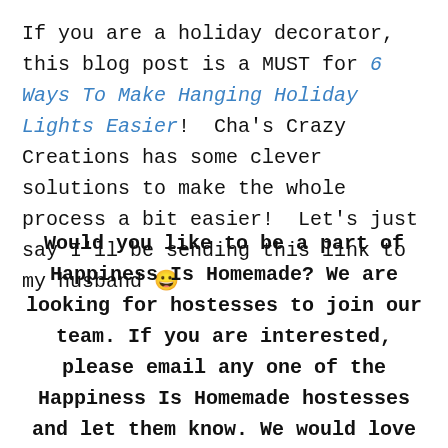If you are a holiday decorator, this blog post is a MUST for 6 Ways To Make Hanging Holiday Lights Easier! Cha's Crazy Creations has some clever solutions to make the whole process a bit easier! Let's just say I'll be sending this link to my husband 😀
Would you like to be a part of Happiness Is Homemade? We are looking for hostesses to join our team. If you are interested, please email any one of the Happiness Is Homemade hostesses and let them know. We would love to have you join our party.